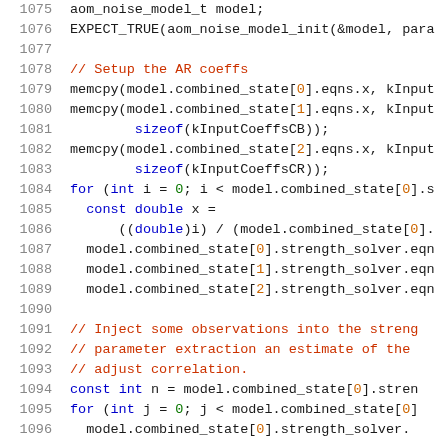[Figure (screenshot): Source code listing in C/C++ with line numbers 1075-1096, showing noise model initialization and AR coefficient setup with memcpy calls and for loops.]